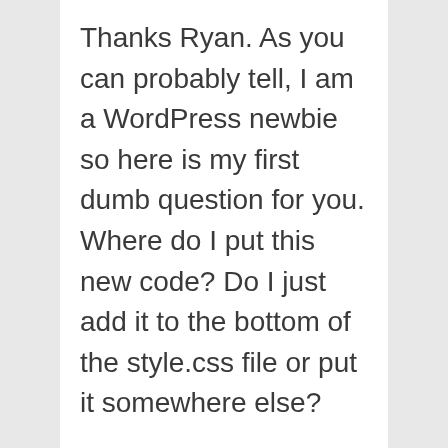Thanks Ryan. As you can probably tell, I am a WordPress newbie so here is my first dumb question for you. Where do I put this new code? Do I just add it to the bottom of the style.css file or put it somewhere else?
If you have time, I have another newbie question. I am using the feature post widget in the Home Top Right area. In order to get the text to display in this area, I have to set the font color to white. The problem is that I will not be displaying all the text in this area of the home page so there is a more button taking the viewer to